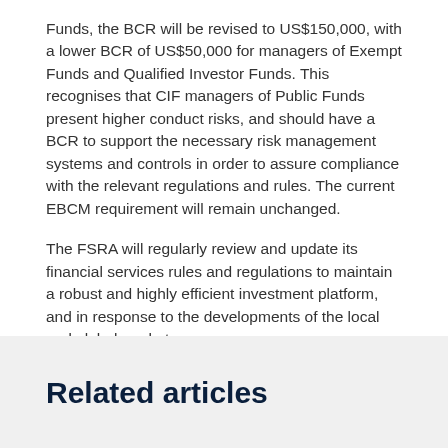Funds, the BCR will be revised to US$150,000, with a lower BCR of US$50,000 for managers of Exempt Funds and Qualified Investor Funds. This recognises that CIF managers of Public Funds present higher conduct risks, and should have a BCR to support the necessary risk management systems and controls in order to assure compliance with the relevant regulations and rules.  The current EBCM requirement will remain unchanged.
The FSRA will regularly review and update its financial services rules and regulations to maintain a robust and highly efficient investment platform, and in response to the developments of the local and global markets.
download Arabic
Related articles